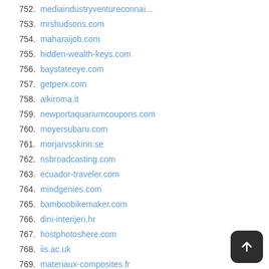752. mediaindustryventureconnai...
753. mrshudsons.com
754. maharaijob.com
755. hidden-wealth-keys.com
756. baystateeye.com
757. getperx.com
758. aikiroma.it
759. newportaquariumcoupons.com
760. moyersubaru.com
761. morjarvsskinn.se
762. nsbroadcasting.com
763. ecuador-traveler.com
764. mindgenies.com
765. bamboobikemaker.com
766. dini-interijeri.hr
767. hostphotoshere.com
768. iis.ac.uk
769. materiaux-composites.fr